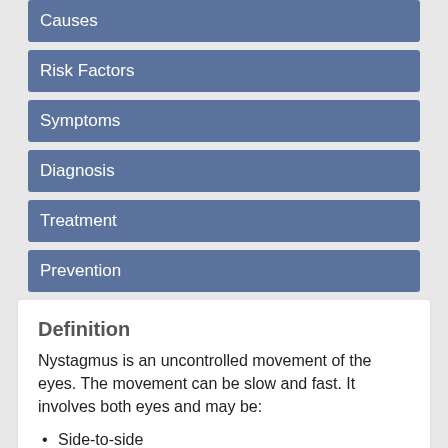Causes
Risk Factors
Symptoms
Diagnosis
Treatment
Prevention
Definition
Nystagmus is an uncontrolled movement of the eyes. The movement can be slow and fast. It involves both eyes and may be:
Side-to-side
Up and down
Circular
There are several types of nystagmus:
Infantile, the most common type—tends to start between ages 6 weeks and 3 months
Acquired—happens later